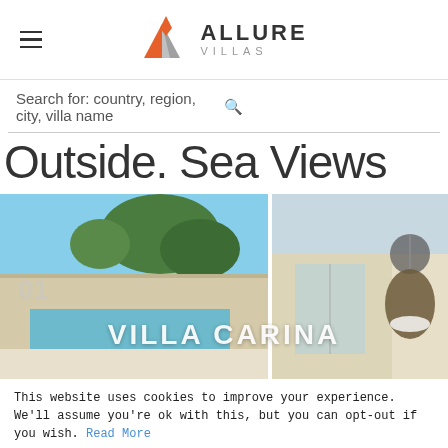ALLURE VILLAS
Search for: country, region, city, villa name
Outside. Sea Views
[Figure (photo): Villa Carina exterior with swimming pool and hanging chair, split into two photos side by side]
This website uses cookies to improve your experience. We'll assume you're ok with this, but you can opt-out if you wish. Read More
Accept | Decline | Cookie Settings